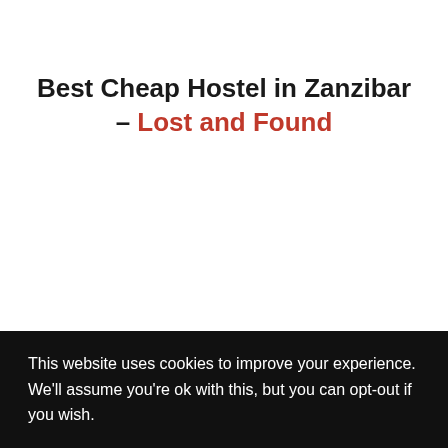Best Cheap Hostel in Zanzibar – Lost and Found
This website uses cookies to improve your experience. We'll assume you're ok with this, but you can opt-out if you wish.